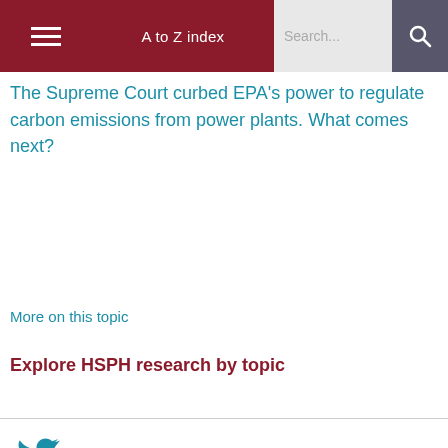A to Z index | Search...
The Supreme Court curbed EPA's power to regulate carbon emissions from power plants. What comes next?
More on this topic
Explore HSPH research by topic
HARVARD CHAN SCHOOL NEWS ON TWITTER
RT@MIGWReSCrce @DnkMyCAPh_CB: We HFiehtag@HarvardCCHANGE tharchinalfit...